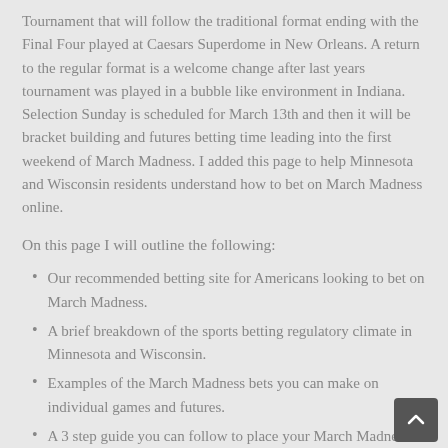Tournament that will follow the traditional format ending with the Final Four played at Caesars Superdome in New Orleans. A return to the regular format is a welcome change after last years tournament was played in a bubble like environment in Indiana. Selection Sunday is scheduled for March 13th and then it will be bracket building and futures betting time leading into the first weekend of March Madness. I added this page to help Minnesota and Wisconsin residents understand how to bet on March Madness online.
On this page I will outline the following:
Our recommended betting site for Americans looking to bet on March Madness.
A brief breakdown of the sports betting regulatory climate in Minnesota and Wisconsin.
Examples of the March Madness bets you can make on individual games and futures.
A 3 step guide you can follow to place your March Madness bets online.